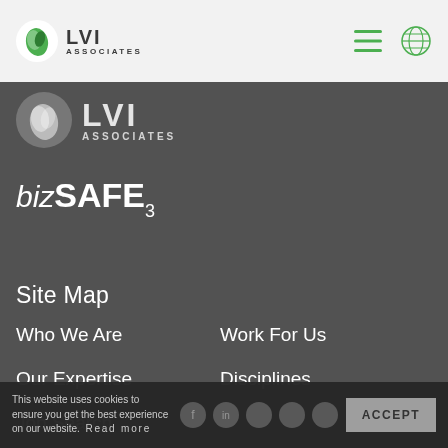[Figure (logo): LVI Associates logo with green leaf icon and text 'LVI ASSOCIATES' in top navigation bar]
LVI Associates navigation bar with hamburger menu and globe icon
[Figure (logo): LVI Associates footer logo - large grey circle with white leaf icon and 'LVI ASSOCIATES' text]
[Figure (logo): bizSAFE3 logo - stylized italic text 'biz' followed by bold 'SAFE' with subscript '3']
Site Map
Who We Are
Work For Us
Our Expertise
Disciplines
Job Search
Media Hub
Connect with us
This website uses cookies to ensure you get the best experience on our website.  Read more
ACCEPT